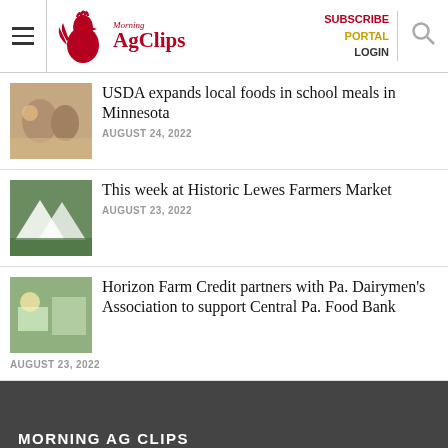Morning Ag Clips — SUBSCRIBE PORTAL LOGIN
USDA expands local foods in school meals in Minnesota
AUGUST 24, 2022
This week at Historic Lewes Farmers Market
AUGUST 23, 2022
Horizon Farm Credit partners with Pa. Dairymen's Association to support Central Pa. Food Bank
AUGUST 23, 2022
MORNING AG CLIPS